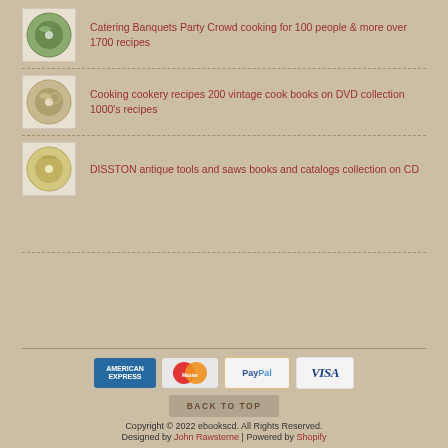Catering Banquets Party Crowd cooking for 100 people & more over 1700 recipes
Cooking cookery recipes 200 vintage cook books on DVD collection 1000's recipes
DISSTON antique tools and saws books and catalogs collection on CD
[Figure (logo): Payment method logos: American Express, MasterCard, PayPal, VISA]
BACK TO TOP
Copyright © 2022 ebookscd. All Rights Reserved. Designed by John Rawsterne | Powered by Shopify